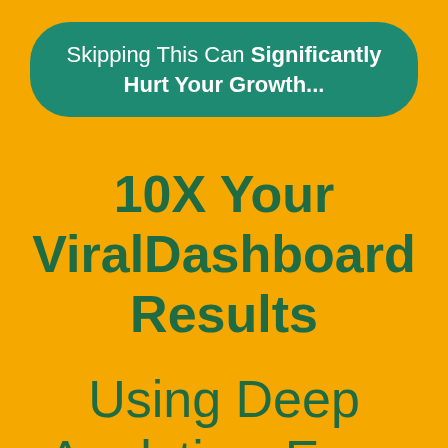Skipping This Can Significantly Hurt Your Growth...
10X Your ViralDashboard Results
Using Deep Analytics, Easy